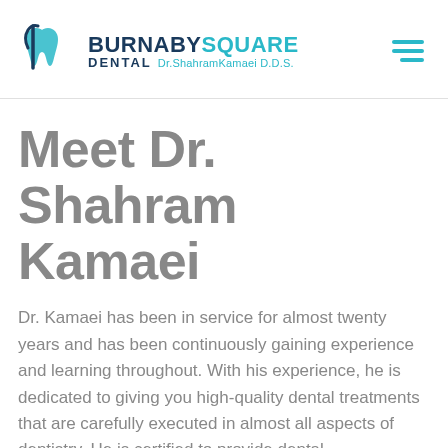[Figure (logo): Burnaby Square Dental logo with tooth icon and Dr. Shahram Kamaei D.D.S. text]
Meet Dr. Shahram Kamaei
Dr. Kamaei has been in service for almost twenty years and has been continuously gaining experience and learning throughout. With his experience, he is dedicated to giving you high-quality dental treatments that are carefully executed in almost all aspects of dentistry. He is certified to provide dental